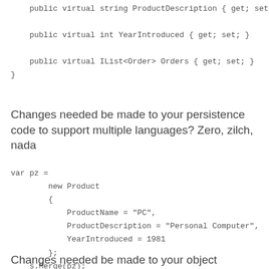public virtual string ProductDescription { get; set;

    public virtual int YearIntroduced { get; set; }

    public virtual IList<Order> Orders { get; set; }
}
Changes needed be made to your persistence code to support multiple languages? Zero, zilch, nada
var pz =
        new Product
        {
            ProductName = "PC",
            ProductDescription = "Personal Computer",
            YearIntroduced = 1981
        };
    s.Merge(pz);
    s.Flush();
Changes needed be made to your object retrieval code to